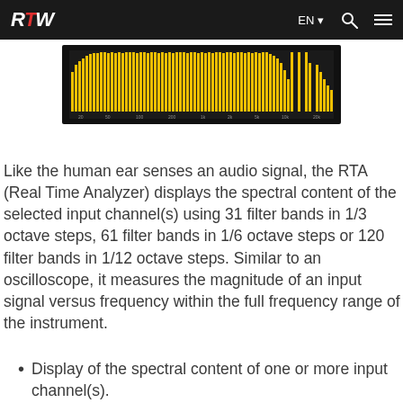RTW  EN  [search] [menu]
[Figure (screenshot): RTW Real Time Analyzer display showing a wide spectrum analyzer with yellow frequency bars across the full audio range on a dark background]
Like the human ear senses an audio signal, the RTA (Real Time Analyzer) displays the spectral content of the selected input channel(s) using 31 filter bands in 1/3 octave steps, 61 filter bands in 1/6 octave steps or 120 filter bands in 1/12 octave steps. Similar to an oscilloscope, it measures the magnitude of an input signal versus frequency within the full frequency range of the instrument.
Display of the spectral content of one or more input channel(s).